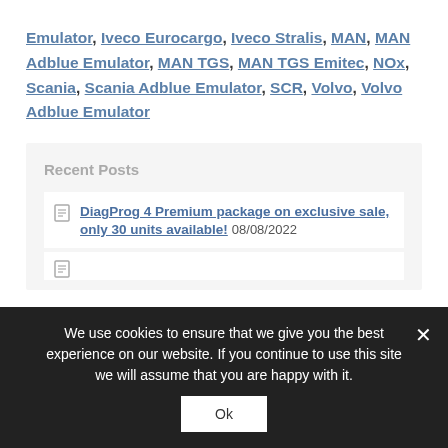Emulator, Iveco Eurocargo, Iveco Stralis, MAN, MAN Adblue Emulator, MAN TGS, MAN TGS Emitec, NOx, Scania, Scania Adblue Emulator, SCR, Volvo, Volvo Adblue Emulator
Recent Posts
DiagProg 4 Premium package on exclusive sale, only 30 units available! 08/08/2022
We use cookies to ensure that we give you the best experience on our website. If you continue to use this site we will assume that you are happy with it.